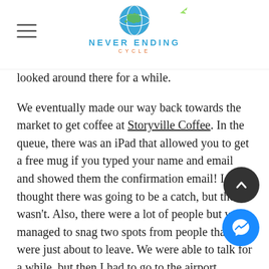NEVER ENDING CYCLE
looked around there for a while.
We eventually made our way back towards the market to get coffee at Storyville Coffee. In the queue, there was an iPad that allowed you to get a free mug if you typed your name and email and showed them the confirmation email! I thought there was going to be a catch, but there wasn't. Also, there were a lot of people but we managed to snag two spots from people that were just about to leave. We were able to talk for a while, but then I had to go to the airport.
Overall, the trip was a great way to